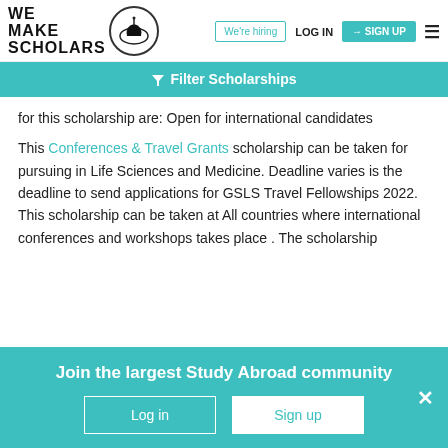We Make Scholars | We're hiring | LOG IN | SIGN UP
Filter Scholarships
for this scholarship are: Open for international candidates
This Conferences & Travel Grants scholarship can be taken for pursuing in Life Sciences and Medicine. Deadline varies is the deadline to send applications for GSLS Travel Fellowships 2022. This scholarship can be taken at All countries where international conferences and workshops takes place . The scholarship application form can be...
Join the largest Study Abroad community
Log in
Sign up